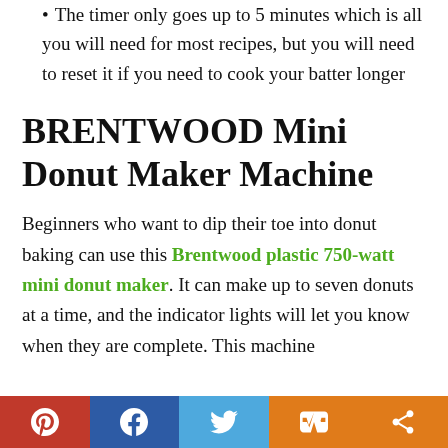The timer only goes up to 5 minutes which is all you will need for most recipes, but you will need to reset it if you need to cook your batter longer
BRENTWOOD Mini Donut Maker Machine
Beginners who want to dip their toe into donut baking can use this Brentwood plastic 750-watt mini donut maker. It can make up to seven donuts at a time, and the indicator lights will let you know when they are complete. This machine